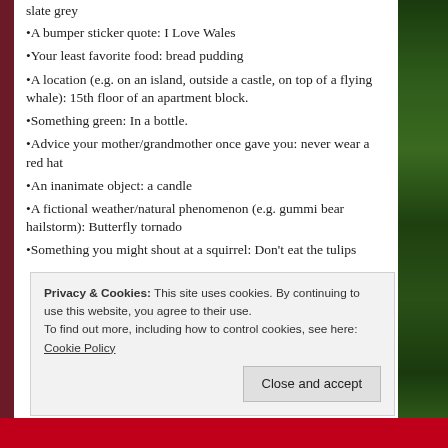slate grey
•A bumper sticker quote: I Love Wales
•Your least favorite food: bread pudding
•A location (e.g. on an island, outside a castle, on top of a flying whale): 15th floor of an apartment block.
•Something green: In a bottle.
•Advice your mother/grandmother once gave you: never wear a red hat
•An inanimate object: a candle
•A fictional weather/natural phenomenon (e.g. gummi bear hailstorm): Butterfly tornado
•Something you might shout at a squirrel: Don't eat the tulips
Privacy & Cookies: This site uses cookies. By continuing to use this website, you agree to their use. To find out more, including how to control cookies, see here: Cookie Policy
Close and accept